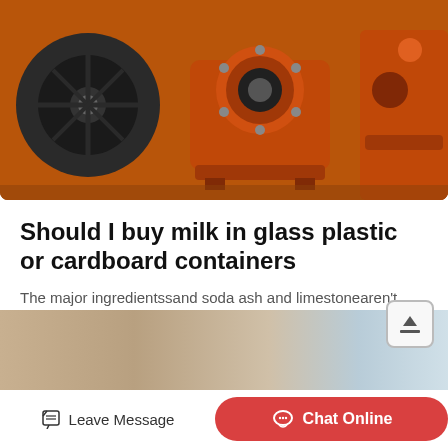[Figure (photo): Orange industrial machinery/blower equipment on a gray surface, including a circular fan/blower unit and wheel-like components]
Should I buy milk in glass plastic or cardboard containers
The major ingredientssand soda ash and limestonearen't renewable but they are plentiful Sand is incidentally one of the main exports of North Korea Just a bit of trivia
Read More
[Figure (photo): Partial view of a building exterior with a bird]
Leave Message
Chat Online